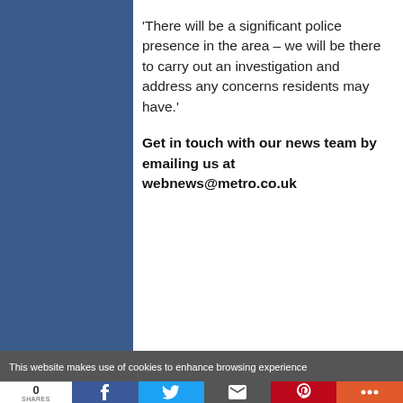‘There will be a significant police presence in the area – we will be there to carry out an investigation and address any concerns residents may have.’
Get in touch with our news team by emailing us at webnews@metro.co.uk
This website makes use of cookies to enhance browsing experience
0 SHARES